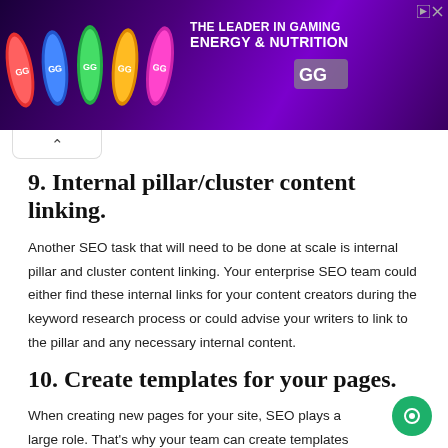[Figure (illustration): Advertisement banner for GG gaming energy and nutrition drinks. Shows colorful energy drink cans on left, text 'THE LEADER IN GAMING ENERGY & NUTRITION' and GG logo on right, on a purple gradient background.]
9. Internal pillar/cluster content linking.
Another SEO task that will need to be done at scale is internal pillar and cluster content linking. Your enterprise SEO team could either find these internal links for your content creators during the keyword research process or could advise your writers to link to the pillar and any necessary internal content.
10. Create templates for your pages.
When creating new pages for your site, SEO plays a large role. That's why your team can create templates that your developers can replicate over and over again in line with enterprise SEO needs.